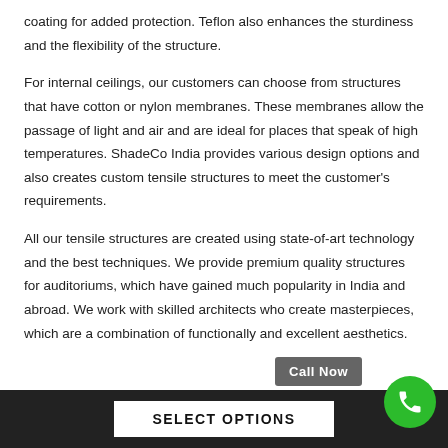coating for added protection. Teflon also enhances the sturdiness and the flexibility of the structure.
For internal ceilings, our customers can choose from structures that have cotton or nylon membranes. These membranes allow the passage of light and air and are ideal for places that speak of high temperatures. ShadeCo India provides various design options and also creates custom tensile structures to meet the customer's requirements.
All our tensile structures are created using state-of-art technology and the best techniques. We provide premium quality structures for auditoriums, which have gained much popularity in India and abroad. We work with skilled architects who create masterpieces, which are a combination of functionally and excellent aesthetics.
SELECT OPTIONS